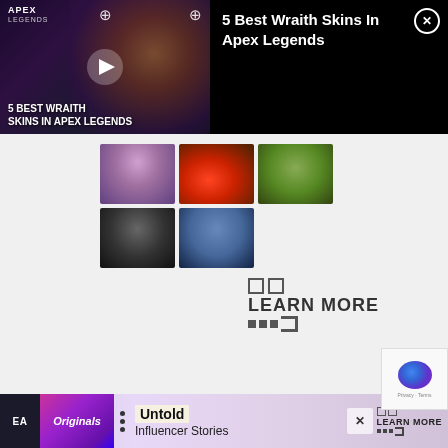[Figure (screenshot): Video overlay showing Apex Legends thumbnail with title '5 BEST WRAITH SKINS IN APEX LEGENDS' on the left and text '5 Best Wraith Skins In Apex Legends' on the right with a close button]
[Figure (screenshot): Grid of 5 video thumbnails showing people and a car]
LEARN MORE
[Figure (screenshot): Bottom advertisement bar for EA Originals featuring 'Untold Influencer Stories' with Learn More button]